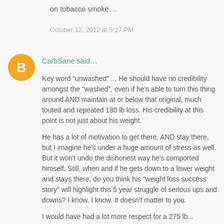on tobacco smoke....
October 12, 2012 at 5:27 PM
[Figure (illustration): Orange circular avatar with white blogger 'B' icon]
CarbSane said...
Key word "unwashed" ... He should have no credibility amongst the "washed", even if he's able to turn this thing around AND maintain at or below that original, much touted and repeated 180 lb loss. His credibility at this point is not just about his weight.

He has a lot of motivation to get there, AND stay there, but I imagine he's under a huge amount of stress as well. But it won't undo the dishonest way he's comported himself. Still, when and if he gets down to a lower weight and stays there, do you think his "weight loss success story" will highlight this 5 year struggle of serious ups and downs? I know, I know. It doesn't matter to you.

I would have had a lot more respect for a 275 lb...